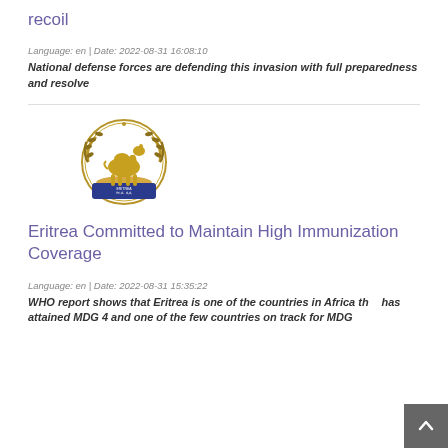recoil
Language: en | Date: 2022-08-31 16:08:10
National defense forces are defending this invasion with full preparedness and resolve
[Figure (logo): Eritrea national emblem/coat of arms showing a camel inside a wreath with blue banner]
Eritrea Committed to Maintain High Immunization Coverage
Language: en | Date: 2022-08-31 15:35:22
WHO report shows that Eritrea is one of the countries in Africa that has attained MDG 4 and one of the few countries on track for MDG 5